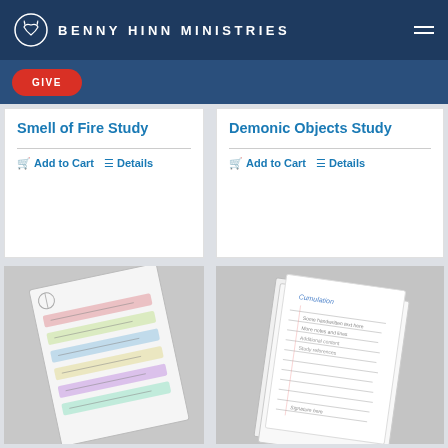BENNY HINN MINISTRIES
GIVE
Smell of Fire Study
Add to Cart  Details
Demonic Objects Study
Add to Cart  Details
[Figure (photo): Handwritten study notes on colorful lined pages, slightly angled]
[Figure (photo): Handwritten notes on white lined paper pages, slightly angled]